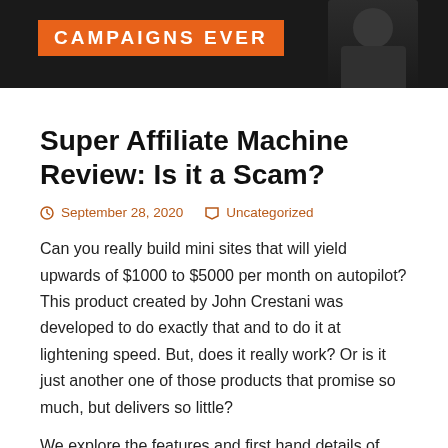[Figure (photo): Dark banner image with orange text label reading 'CAMPAIGNS EVER' partially visible, and a person's silhouette on the right side against a dark background.]
Super Affiliate Machine Review: Is it a Scam?
September 28, 2020   Uncategorized
Can you really build mini sites that will yield upwards of $1000 to $5000 per month on autopilot? This product created by John Crestani was developed to do exactly that and to do it at lightening speed. But, does it really work? Or is it just another one of those products that promise so much, but delivers so little?
We explore the features and first hand details of Super Affiliate...